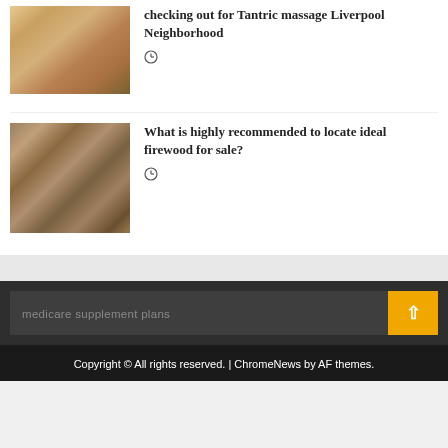[Figure (photo): Person receiving a back massage on a massage table]
checking out for Tantric massage Liverpool Neighborhood
[Figure (photo): Stack of firewood logs]
What is highly recommended to locate ideal firewood for sale?
medicare supplement plans
Copyright © All rights reserved. | ChromeNews by AF themes.